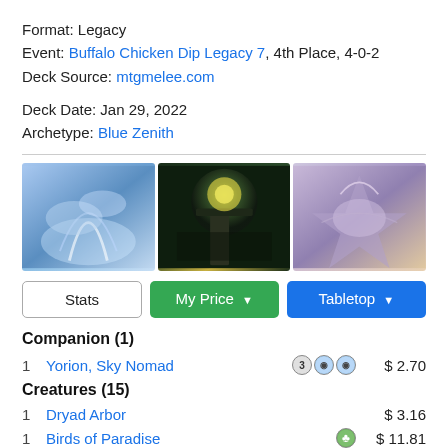Format: Legacy
Event: Buffalo Chicken Dip Legacy 7, 4th Place, 4-0-2
Deck Source: mtgmelee.com
Deck Date: Jan 29, 2022
Archetype: Blue Zenith
[Figure (illustration): Three Magic: The Gathering card art images side by side - blue themed, green dark themed, and purple/grey themed]
Stats | My Price | Tabletop
Companion (1)
1  Yorion, Sky Nomad  3WU  $2.70
Creatures (15)
1  Dryad Arbor  $3.16
1  Birds of Paradise  G  $11.81